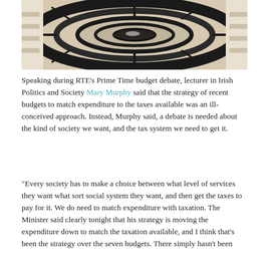[Figure (photo): Overhead circular architectural view, possibly a spiral staircase or rotunda viewed from above, in beige and black tones.]
Speaking during RTE's Prime Time budget debate, lecturer in Irish Politics and Society Mary Murphy said that the strategy of recent budgets to match expenditure to the taxes available was an ill-conceived approach. Instead, Murphy said, a debate is needed about the kind of society we want, and the tax system we need to get it.
"Every society has to make a choice between what level of services they want what sort social system they want, and then get the taxes to pay for it. We do need to match expenditure with taxation. The Minister said clearly tonight that his strategy is moving the expenditure down to match the taxation available, and I think that's been the strategy over the seven budgets. There simply hasn't been